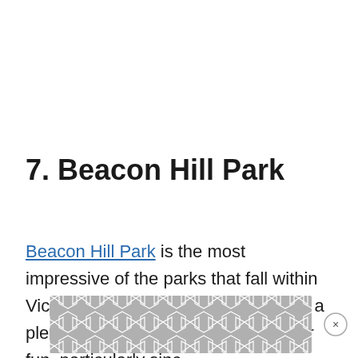7. Beacon Hill Park
Beacon Hill Park is the most impressive of the parks that fall within Victoria's park system. Naturally, it is a pleasant place to have some outdoor fun, particularly since it has a great collection of facilities. How…
[Figure (other): Advertisement overlay with hexagonal tile pattern graphic at the bottom of the page, with an X close button on the right side.]